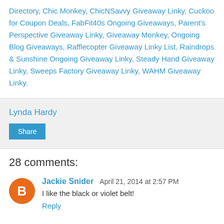Directory, Chic Monkey, ChicNSavvy Giveaway Linky, Cuckoo for Coupon Deals, FabFit40s Ongoing Giveaways, Parent's Perspective Giveaway Linky, Giveaway Monkey, Ongoing Blog Giveaways,  Rafflecopter Giveaway Linky List, Raindrops & Sunshine Ongoing Giveaway Linky, Steady Hand Giveaway Linky, Sweeps Factory Giveaway Linky, WAHM Giveaway Linky.
Lynda Hardy
Share
28 comments:
Jackie Snider  April 21, 2014 at 2:57 PM
I like the black or violet belt!
Reply